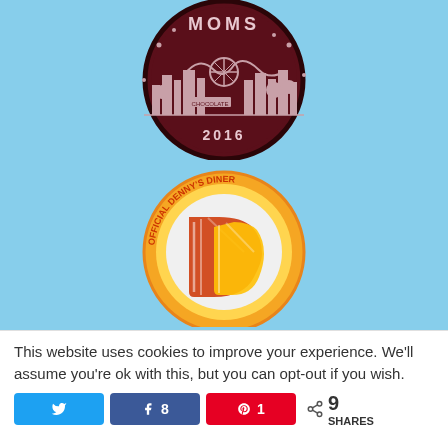[Figure (logo): Circular dark maroon badge logo with city skyline silhouette, amusement park rides, text 'MOMS' at top and '2016' at bottom, with 'CHOCOLATE' text visible on a sign within the scene]
[Figure (logo): Circular badge logo with orange and yellow border, text 'OFFICIAL DENNY'S DINER' around the edge, with orange and yellow stylized letters/pancakes illustration in the center]
This website uses cookies to improve your experience. We'll assume you're ok with this, but you can opt-out if you wish.
Share buttons: Twitter, Facebook (8), Pinterest (1), 9 SHARES